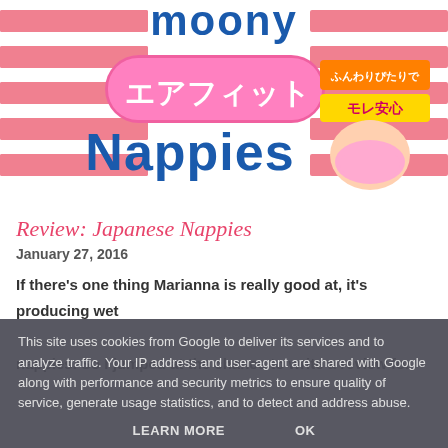[Figure (illustration): Product packaging image for Japanese Nappies (moony brand) with Japanese text エアフィット and ふんわりぴたりでモレ安心, pink and white striped background with baby image]
Review: Japanese Nappies
January 27, 2016
If there's one thing Marianna is really good at, it's producing wet nappies. So I jumped at the chance to write a review for
This site uses cookies from Google to deliver its services and to analyze traffic. Your IP address and user-agent are shared with Google along with performance and security metrics to ensure quality of service, generate usage statistics, and to detect and address abuse.
LEARN MORE    OK